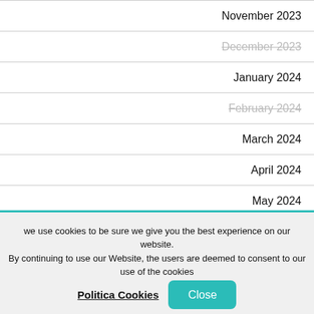November 2023
December 2023
January 2024
February 2024
March 2024
April 2024
May 2024
June 2024
July 2024
we use cookies to be sure we give you the best experience on our website. By continuing to use our Website, the users are deemed to consent to our use of the cookies
Politica Cookies
Close